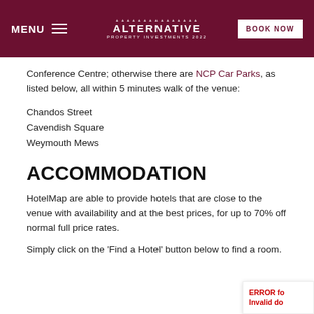MENU | ALTERNATIVE PROPERTY INVESTMENTS | BOOK NOW
Conference Centre; otherwise there are NCP Car Parks, as listed below, all within 5 minutes walk of the venue:
Chandos Street
Cavendish Square
Weymouth Mews
ACCOMMODATION
HotelMap are able to provide hotels that are close to the venue with availability and at the best prices, for up to 70% off normal full price rates.
Simply click on the 'Find a Hotel' button below to find a room.